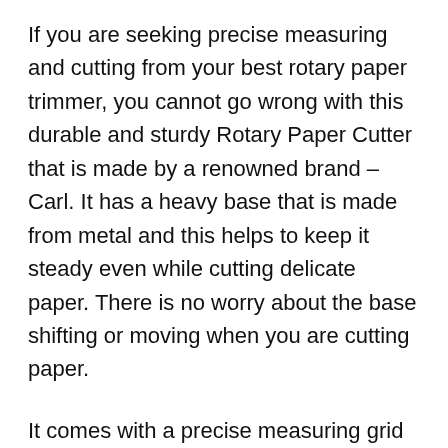If you are seeking precise measuring and cutting from your best rotary paper trimmer, you cannot go wrong with this durable and sturdy Rotary Paper Cutter that is made by a renowned brand – Carl. It has a heavy base that is made from metal and this helps to keep it steady even while cutting delicate paper. There is no worry about the base shifting or moving when you are cutting paper.
It comes with a precise measuring grid that allows you to trim and cut the paper according to your specifications. You do not need rulers or any other device to measure. The carbide blade is sharp and easily cuts up to 36 sheets of paper in one go. The blade slices paper with ease, leaving sharp and